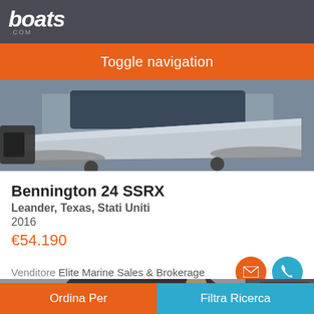boats.com
Toggle navigation
[Figure (photo): Photo of a Bennington 24 SSRX pontoon boat on a trailer, silver/aluminum hull visible from the side]
Bennington 24 SSRX
Leander, Texas, Stati Uniti
2016
€54.190
Venditore Elite Marine Sales & Brokerage
[Figure (photo): Photo of a Bennington boat on display at an indoor event or showroom, dark canopy visible, photo count badge showing 35]
Ordina Per
Filtra Ricerca